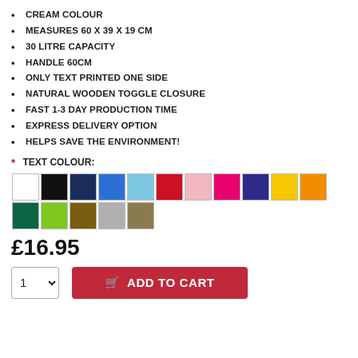CREAM COLOUR
MEASURES 60 X 39 X 19 CM
30 LITRE CAPACITY
HANDLE 60CM
ONLY TEXT PRINTED ONE SIDE
NATURAL WOODEN TOGGLE CLOSURE
FAST 1-3 DAY PRODUCTION TIME
EXPRESS DELIVERY OPTION
HELPS SAVE THE ENVIRONMENT!
* TEXT COLOUR:
[Figure (other): Colour swatches grid: white, black, navy, blue, light blue, red, pink, hot pink, purple, yellow, orange, dark green (row 1); lime green, brown, grey, khaki/olive (row 2)]
£16.95
ADD TO CART (quantity selector with value 1, and Add to Cart button)